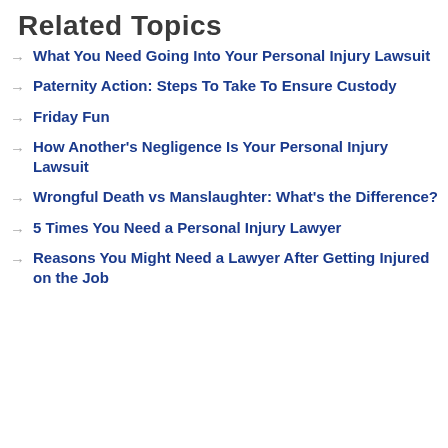Related Topics
What You Need Going Into Your Personal Injury Lawsuit
Paternity Action: Steps To Take To Ensure Custody
Friday Fun
How Another's Negligence Is Your Personal Injury Lawsuit
Wrongful Death vs Manslaughter: What's the Difference?
5 Times You Need a Personal Injury Lawyer
Reasons You Might Need a Lawyer After Getting Injured on the Job